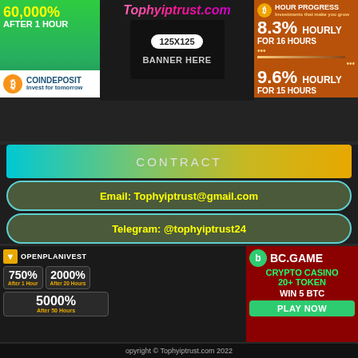[Figure (advertisement): 60,000% AFTER 1 HOUR - CoinDeposit green crypto investment banner]
[Figure (advertisement): Tophyiptrust.com banner placeholder: 125X125 BANNER HERE]
[Figure (advertisement): Hour Progress: 8.3% HOURLY FOR 16 HOURS, 9.6% HOURLY FOR 15 HOURS]
CONTRACT
Email: Tophyiptrust@gmail.com
Telegram: @tophyiptrust24
[Figure (advertisement): OpenPlanInvest: 750% After 1 Hour, 2000% After 20 Hours, 5000% After 50 Hours]
[Figure (advertisement): BC.GAME: Crypto Casino 20+ Token, WIN 5 BTC, PLAY NOW]
Copyright © Tophyiptrust.com 2022